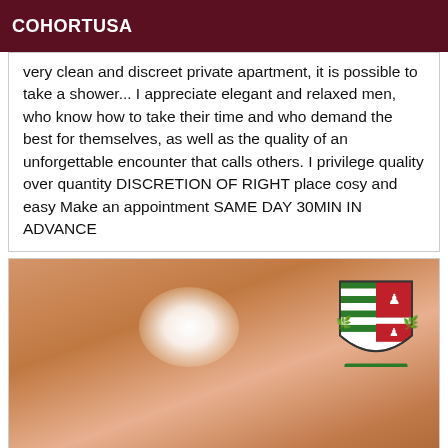COHORTUSA
very clean and discreet private apartment, it is possible to take a shower... I appreciate elegant and relaxed men, who know how to take their time and who demand the best for themselves, as well as the quality of an unforgettable encounter that calls others. I privilege quality over quantity DISCRETION OF RIGHT place cosy and easy Make an appointment SAME DAY 30MIN IN ADVANCE
[Figure (photo): Photo of a blonde woman with face obscured by bright light flash, wearing a necklace, with a heraldic crest visible in the upper right corner]